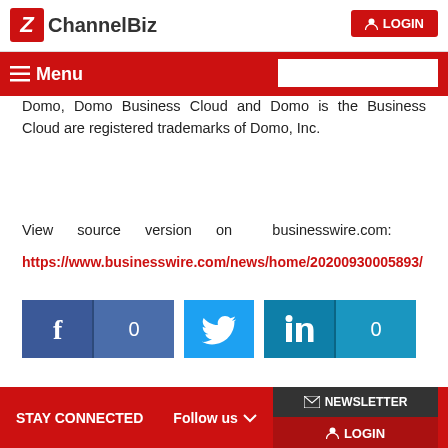ChannelBiz — LOGIN
Menu
Domo, Domo Business Cloud and Domo is the Business Cloud are registered trademarks of Domo, Inc.
View source version on businesswire.com: https://www.businesswire.com/news/home/20200930005893/
[Figure (other): Social media share buttons: Facebook (count 0), Twitter, LinkedIn (count 0)]
STAY CONNECTED   Follow us ▾   ✉ NEWSLETTER   ▲ LOGIN